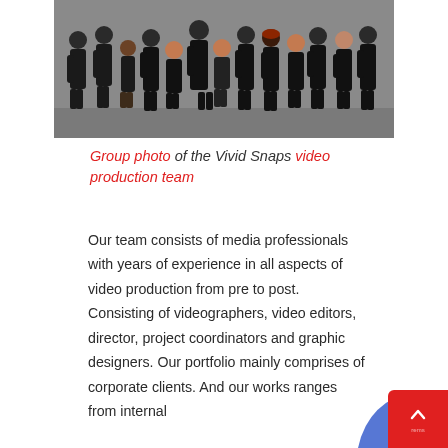[Figure (photo): Group photo of approximately 13 people dressed in dark/black clothing, posed against a grey background for Vivid Snaps video production team.]
Group photo of the Vivid Snaps video production team
Our team consists of media professionals with years of experience in all aspects of video production from pre to post. Consisting of videographers, video editors, director, project coordinators and graphic designers. Our portfolio mainly comprises of corporate clients. And our works ranges from internal communication videos to...